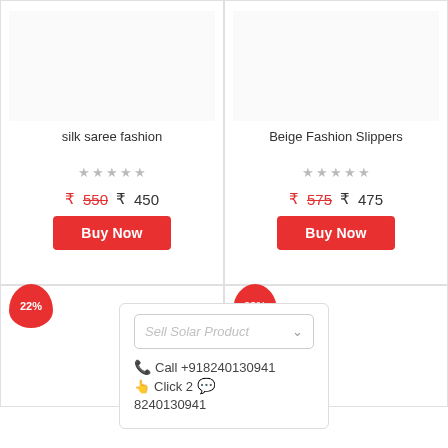silk saree fashion
★★★★★
₹550  ₹ 450
Buy Now
Beige Fashion Slippers
★★★★★
₹575  ₹ 475
Buy Now
22%
38%
Sell Solar Product
Call +918240130941
Click 2
8240130941